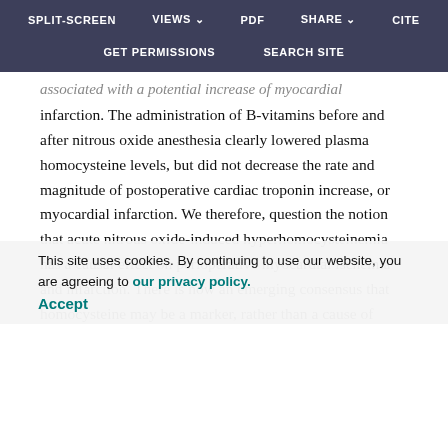SPLIT-SCREEN  VIEWS  PDF  SHARE  CITE  GET PERMISSIONS  SEARCH SITE
associated with a potential increase of myocardial infarction. The administration of B-vitamins before and after nitrous oxide anesthesia clearly lowered plasma homocysteine levels, but did not decrease the rate and magnitude of postoperative cardiac troponin increase, or myocardial infarction. We therefore, question the notion that acute nitrous oxide-induced hyperhomocysteinemia has a causal effect on perioperative myocardial ischemia and infarction. There is now an emerging consensus that homocysteine may be a marker, rather than a cause of atherosclerotic disease and increased cardiovascular risks. Despite an association between coronary and raised homocysteine and coronary artery disease.30,31
This site uses cookies. By continuing to use our website, you are agreeing to our privacy policy.
Accept